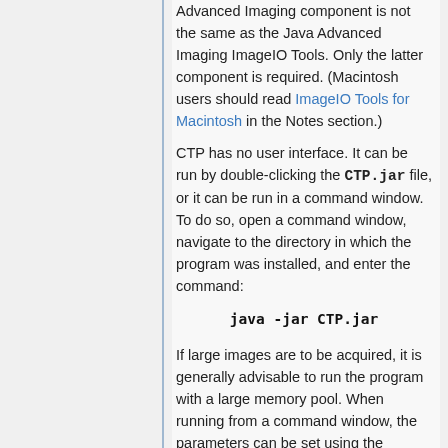Advanced Imaging component is not the same as the Java Advanced Imaging ImageIO Tools. Only the latter component is required. (Macintosh users should read ImageIO Tools for Macintosh in the Notes section.)
CTP has no user interface. It can be run by double-clicking the CTP.jar file, or it can be run in a command window. To do so, open a command window, navigate to the directory in which the program was installed, and enter the command:
If large images are to be acquired, it is generally advisable to run the program with a large memory pool. When running from a command window, the parameters can be set using the command: